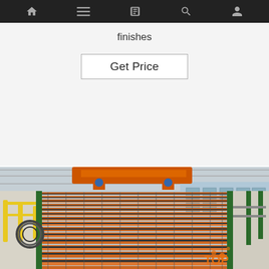Navigation bar with icons: home, menu, document, search, profile
finishes
Get Price
[Figure (photo): Industrial factory floor showing rows of orange ceramic rollers on a large kiln conveyor system, with yellow safety barriers, green metal structures, and a blue building in the background. A 'TOP' watermark logo in orange appears in the lower right corner.]